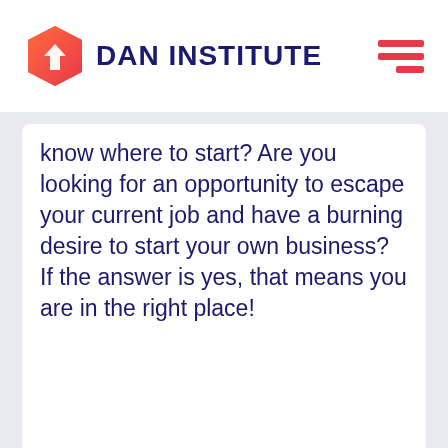DAN INSTITUTE
know where to start? Are you looking for an opportunity to escape your current job and have a burning desire to start your own business? If the answer is yes, that means you are in the right place!
Visit Website >